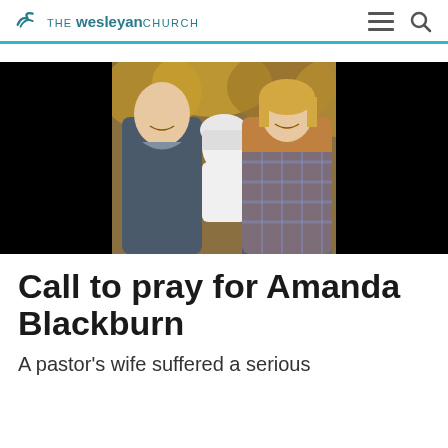THE wesleyan CHURCH
[Figure (photo): Family photo of a man, woman, and baby. The man is on the left wearing a grey shirt, holding a baby in a white hat. The woman is on the right wearing a plaid flannel shirt and tan vest. Background shows autumn trees.]
Call to pray for Amanda Blackburn
A pastor's wife suffered a serious